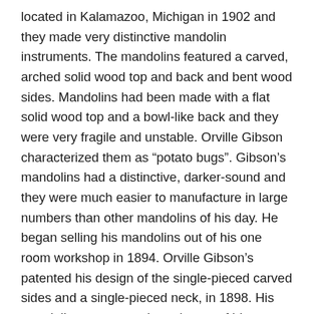located in Kalamazoo, Michigan in 1902 and they made very distinctive mandolin instruments. The mandolins featured a carved, arched solid wood top and back and bent wood sides. Mandolins had been made with a flat solid wood top and a bowl-like back and they were very fragile and unstable. Orville Gibson characterized them as “potato bugs”. Gibson’s mandolins had a distinctive, darker-sound and they were much easier to manufacture in large numbers than other mandolins of his day. He began selling his mandolins out of his one room workshop in 1894. Orville Gibson’s patented his design of the single-pieced carved sides and a single-pieced neck, in 1898. His mandolin patent was the only one of his innovation that he patented before his death in 1918.
In 1902 Gibson’s company was incorporated as Gibson Mandolin-Guitar Mfg. Co, Ltd., to market Orville’s instruments and at this time the company produced only Orville Gibson’s original designs. As trade shows, they use the...